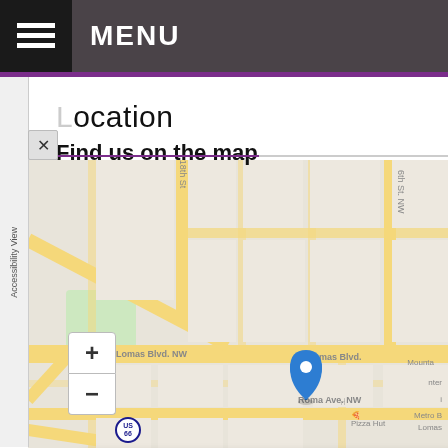MENU
Location
Find us on the map
[Figure (map): Street map of Albuquerque NM area showing Lomas Blvd NW, 18th St, 6th St NW, Roma Ave NW, with a blue location pin marker and a popup showing address: 1100 Lomas Blvd NW, Suite 2, Albuquerque, NM, 87102, USA. Map includes zoom +/- controls, and shows surrounding streets and landmarks including Pizza Hut, Route 66 marker.]